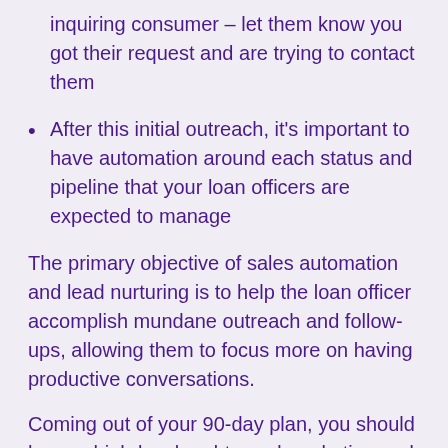inquiring consumer – let them know you got their request and are trying to contact them
After this initial outreach, it's important to have automation around each status and pipeline that your loan officers are expected to manage
The primary objective of sales automation and lead nurturing is to help the loan officer accomplish mundane outreach and follow-ups, allowing them to focus more on having productive conversations.
Coming out of your 90-day plan, you should have a high-level end-to-end marketing and sales process. This process will help your loan